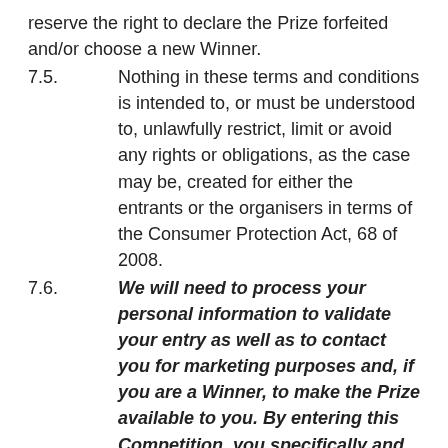reserve the right to declare the Prize forfeited and/or choose a new Winner.
7.5. Nothing in these terms and conditions is intended to, or must be understood to, unlawfully restrict, limit or avoid any rights or obligations, as the case may be, created for either the entrants or the organisers in terms of the Consumer Protection Act, 68 of 2008.
7.6. We will need to process your personal information to validate your entry as well as to contact you for marketing purposes and, if you are a Winner, to make the Prize available to you. By entering this Competition, you specifically and expressly consent to us processing your personal information for these purposes.
7.7. We assume no risk and/or liability whatsoever for the failure of any technical element in